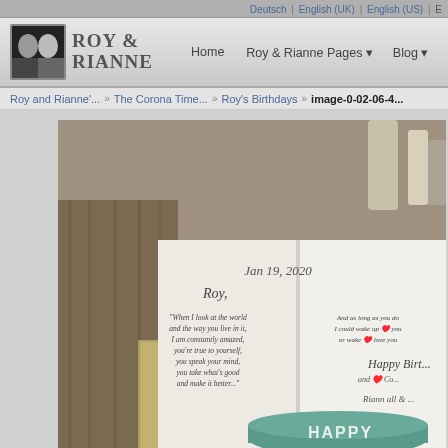Deutsch | English (UK) | English (US) | E...
[Figure (screenshot): Roy & Rianne website logo with navigation bar showing Home, Roy & Rianne Pages, Blog, Miscellany links]
Roy and Rianne'... » The Corona Time... » Roy's Birthdays » image-0-02-06-4...
[Figure (photo): Birthday card open showing handwritten date Jan 19, 2020 with printed poem text, and a teal birthday cake with HAPPY text visible at bottom, placed on granite countertop]